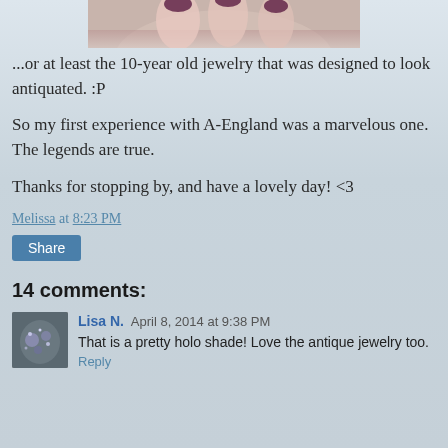[Figure (photo): Cropped bottom portion of a photo showing fingers/hand with dark nail polish holding jewelry, with blurred outdoor background]
...or at least the 10-year old jewelry that was designed to look antiquated. :P
So my first experience with A-England was a marvelous one.  The legends are true.
Thanks for stopping by, and have a lovely day! <3
Melissa at 8:23 PM
Share
14 comments:
[Figure (photo): Small square avatar thumbnail showing nail art with glitter/holo polish]
Lisa N.  April 8, 2014 at 9:38 PM
That is a pretty holo shade! Love the antique jewelry too.
Reply